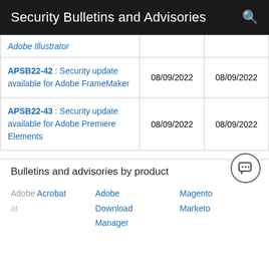Security Bulletins and Advisories
| Bulletin | Date | Last Updated |
| --- | --- | --- |
| Adobe Illustrator |  |  |
| APSB22-42 : Security update available for Adobe FrameMaker | 08/09/2022 | 08/09/2022 |
| APSB22-43 : Security update available for Adobe Premiere Elements | 08/09/2022 | 08/09/2022 |
Bulletins and advisories by product
Adobe Acrobat  Adobe Download Manager  Magento  Marketo